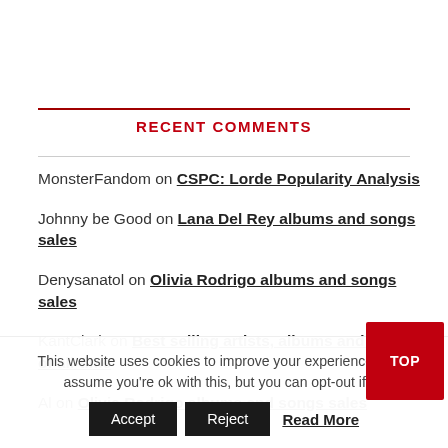RECENT COMMENTS
MonsterFandom on CSPC: Lorde Popularity Analysis
Johnny be Good on Lana Del Rey albums and songs sales
Denysanatol on Olivia Rodrigo albums and songs sales
KantClark on Best selling artists, albums and singles of all-time
Al on Olivia Rodrigo albums and songs sales
This website uses cookies to improve your experience. We'll assume you're ok with this, but you can opt-out if yo...
Accept   Reject   Read More